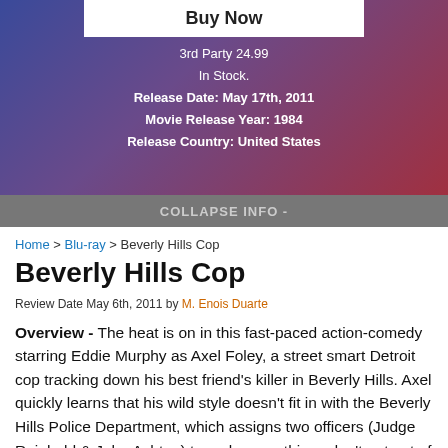[Figure (screenshot): Buy Now button on a product page with white background]
3rd Party 24.99
In Stock.
Release Date: May 17th, 2011
Movie Release Year: 1984
Release Country: United States
COLLAPSE INFO -
Home > Blu-ray > Beverly Hills Cop
Beverly Hills Cop
Review Date May 6th, 2011 by M. Enois Duarte
Overview - The heat is on in this fast-paced action-comedy starring Eddie Murphy as Axel Foley, a street smart Detroit cop tracking down his best friend's killer in Beverly Hills. Axel quickly learns that his wild style doesn't fit in with the Beverly Hills Police Department, which assigns two officers (Judge Reinhold & John Ashton) to make sure things don't get out of hand.